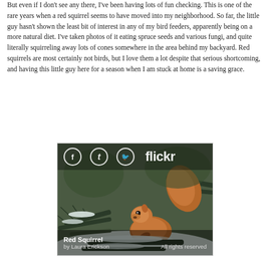But even if I don't see any there, I've been having lots of fun checking. This is one of the rare years when a red squirrel seems to have moved into my neighborhood. So far, the little guy hasn't shown the least bit of interest in any of my bird feeders, apparently being on a more natural diet. I've taken photos of it eating spruce seeds and various fungi, and quite literally squirreling away lots of cones somewhere in the area behind my backyard. Red squirrels are most certainly not birds, but I love them a lot despite that serious shortcoming, and having this little guy here for a season when I am stuck at home is a saving grace.
[Figure (photo): A red squirrel perched on snow-covered pine branches, photographed by Laura Erickson. Shared on Flickr with social sharing icons (Facebook, Tumblr, Twitter) overlay at top. Caption reads 'Red Squirrel by Laura Erickson' and 'All rights reserved'.]